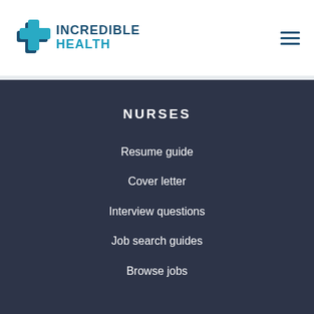[Figure (logo): Incredible Health logo with blue cross icon and text 'INCREDIBLE HEALTH']
NURSES
Resume guide
Cover letter
Interview questions
Job search guides
Browse jobs